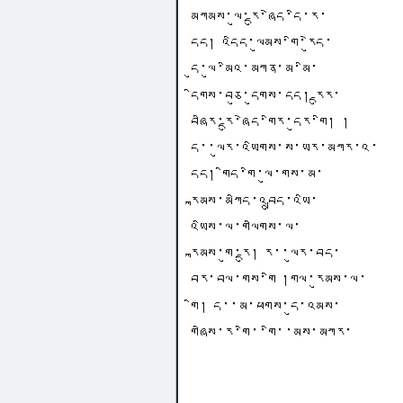མཀམས་ལུ་རྡུ་ཞེད་དིི་ར་ དད། འདིད་ལུམས་གི་རེུད་ དུ་ལུ་མིའ་མཀན་མ་མི་ དིིགས་བཅུ་དུགས་དད། རྡུར་ བཞིར་རྡུ་ཞེད་གིར་དུར་གིི། ། ད་་ལུར་འཡིགས་ས་ཡར་མཀར་འ་ དད། གིད་གི་ལུ་གས་མ་ རྐམས་མཀིད་འབྲུད་འཡི་ འཡིས་ལ་གལིིགས་ལ་ རྐམས་གུ་རྡུ། ར་་ལུར་བད་ བར་བལ་གས་གིི །གལ་རུམས་ལ་ གི། ད་་མ་ཕགས་དུ་འམས་ གཞིས་ར་གི་་གི་་མས་མཀར་